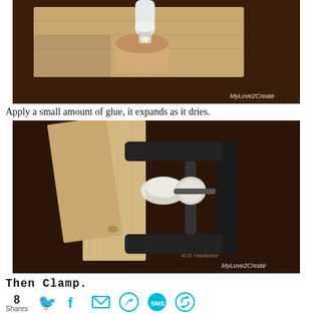[Figure (photo): Close-up photo of a glue bottle applying glue to a wooden piece, with 'MyLove2Create' watermark in bottom right corner.]
Apply a small amount of glue, it expands as it dries.
[Figure (photo): Photo of two pieces of wood clamped together with a black metal C-clamp, with glue visible between the pieces. 'MyLove2Create' watermark in bottom right corner.]
Then Clamp.
8 Shares